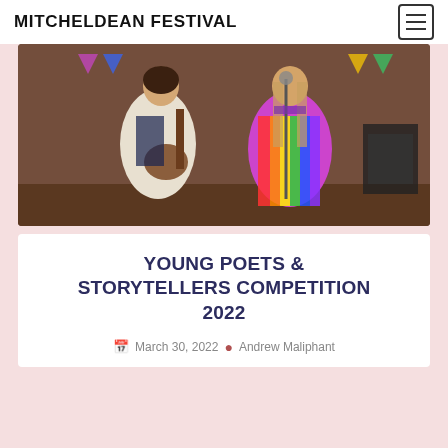MITCHELDEAN FESTIVAL
[Figure (photo): Two women performing on stage in a church-like venue. One plays an acoustic guitar wearing a white blouse and dark patterned vest. The other sings at a microphone wearing a colourful rainbow dress/shawl.]
YOUNG POETS & STORYTELLERS COMPETITION 2022
March 30, 2022  Andrew Maliphant